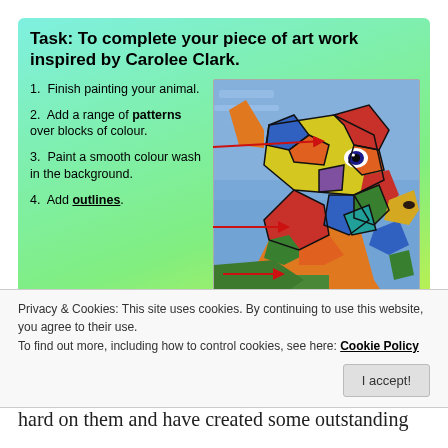Task: To complete your piece of art work inspired by Carolee Clark.
1. Finish painting your animal.
2. Add a range of patterns over blocks of colour.
3. Paint a smooth colour wash in the background.
4. Add outlines.
[Figure (photo): A colourful painting of a dog's head in profile, with bold geometric multi-coloured pattern blocks, with red arrows pointing from list items to the painting.]
Privacy & Cookies: This site uses cookies. By continuing to use this website, you agree to their use.
To find out more, including how to control cookies, see here: Cookie Policy
hard on them and have created some outstanding